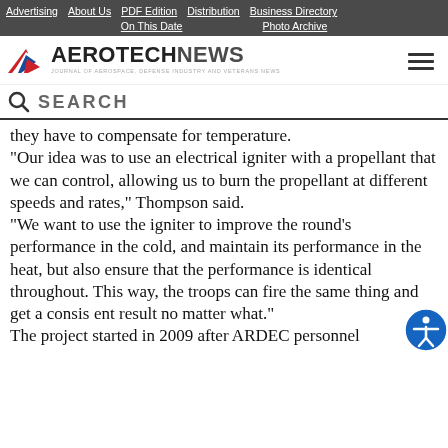Advertising | About Us | PDF Edition | Distribution | Business Directory | On This Date | Photo Archive
[Figure (logo): Aerotech News logo with wing/chevron icon in red, white and blue, and tagline 'Journal of Aerospace, Defense Industry and Veterans News']
SEARCH
they have to compensate for temperature.
"Our idea was to use an electrical igniter with a propellant that we can control, allowing us to burn the propellant at different speeds and rates," Thompson said.
"We want to use the igniter to improve the round's performance in the cold, and maintain its performance in the heat, but also ensure that the performance is identical throughout. This way, the troops can fire the same thing and get a consistent result no matter what."
The project started in 2009 after ARDEC personnel